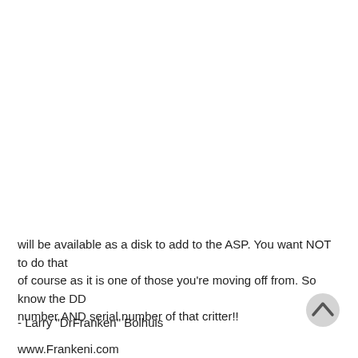will be available as a disk to add to the ASP. You want NOT to do that
of course as it is one of those you're moving off from. So know the DD
number AND serial number of that critter!!
- Larry "DrFranken" Bolhuis
www.Frankeni.com